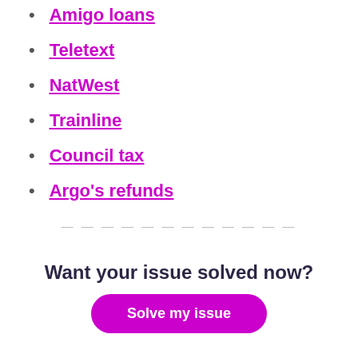Amigo loans
Teletext
NatWest
Trainline
Council tax
Argo's refunds
Want your issue solved now?
Solve my issue